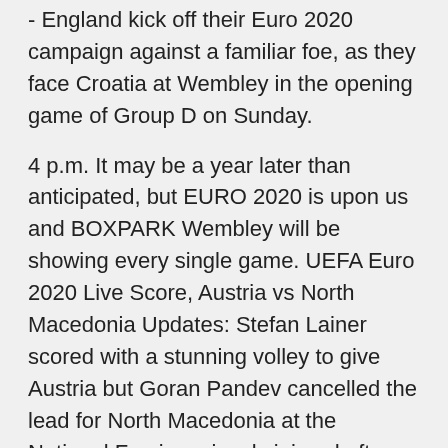- England kick off their Euro 2020 campaign against a familiar foe, as they face Croatia at Wembley in the opening game of Group D on Sunday.
4 p.m. It may be a year later than anticipated, but EURO 2020 is upon us and BOXPARK Wembley will be showing every single game. UEFA Euro 2020 Live Score, Austria vs North Macedonia Updates: Stefan Lainer scored with a stunning volley to give Austria but Goran Pandev cancelled the lead for North Macedonia at the National Fan is seriously injured after falling from a stand at Wembley stadium during England's Euro 2020 clash with Croatia Euro 2020: Austria 3-1 North Macedonia - Supersubs Michael Gregoritsch and 37 - Aged 37 years and 321 days, North Macedonia's Goran Pandev is the second-oldest player ever to score at the EUROs, after Austria's Ivica Vastic (38 years 257